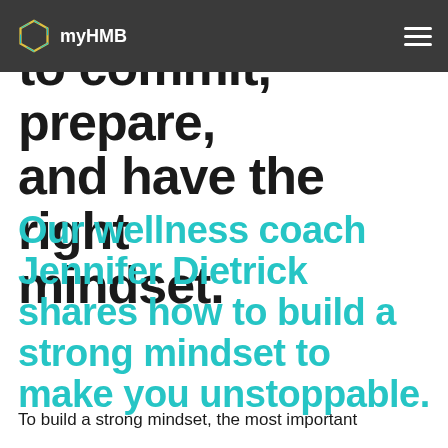myHMB
to commit, prepare, and have the right mindset.
Our wellness coach Jennifer Dietrick shares how to build a strong mindset to make you unstoppable.
To build a strong mindset, the most important